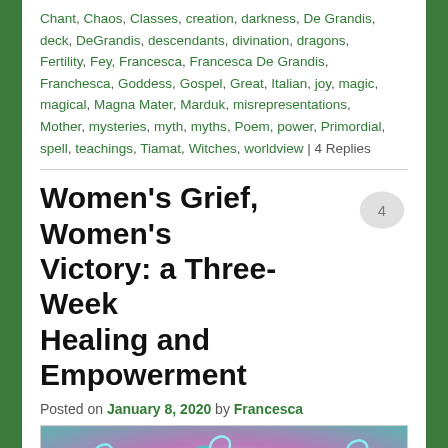Chant, Chaos, Classes, creation, darkness, De Grandis, deck, DeGrandis, descendants, divination, dragons, Fertility, Fey, Francesca, Francesca De Grandis, Franchesca, Goddess, Gospel, Great, Italian, joy, magic, magical, Magna Mater, Marduk, misrepresentations, Mother, mysteries, myth, myths, Poem, power, Primordial, spell, teachings, Tiamat, Witches, worldview | 4 Replies
Women's Grief, Women's Victory: a Three-Week Healing and Empowerment
Posted on January 8, 2020 by Francesca
[Figure (illustration): Decorative fantasy artwork featuring stylized teal/turquoise swirling creatures or figures with golden accents against a pink/purple and teal background]